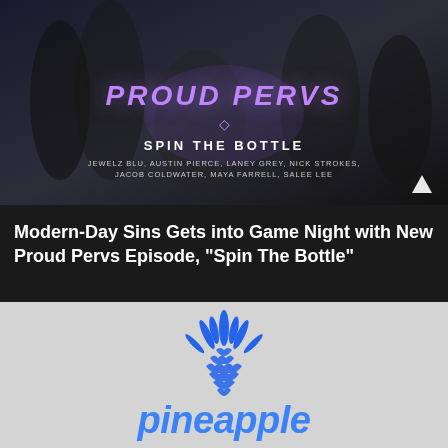[Figure (photo): Promotional movie/episode image for 'Proud Pervs – Spin The Bottle' with cast names: Jewelz Blu, Austin Pierce, Laney Grey, Nick Strokes, Jacob Coldwater, Maya Farrell, Salee Lee]
Modern-Day Sins Gets into Game Night with New Proud Pervs Episode, “Spin The Bottle”
[Figure (logo): Pineapple Support logo – blue pineapple icon above the word 'pineapple' in blue italic text]